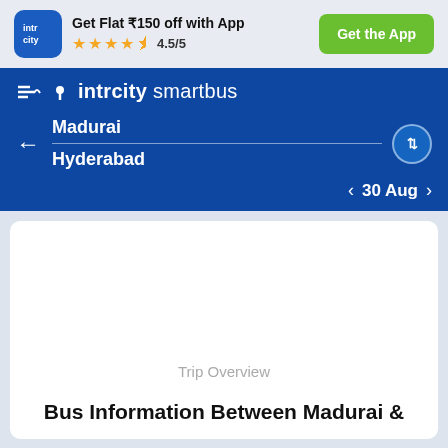Get Flat ₹150 off with App | ★★★★½ 4.5/5 | Get the App
[Figure (logo): IntrCity logo — blue rounded square with 'intr city' text in white]
intrcity smartbus
Madurai → Hyderabad
30 Aug
Trip Overview
Bus Information Between Madurai &